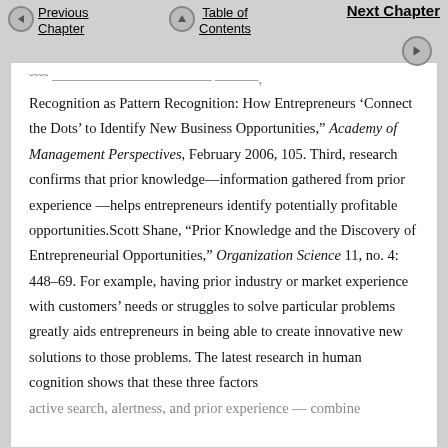Previous Chapter | Table of Contents | Next Chapter
Recognition as Pattern Recognition: How Entrepreneurs 'Connect the Dots' to Identify New Business Opportunities," Academy of Management Perspectives, February 2006, 105. Third, research confirms that prior knowledge—information gathered from prior experience—helps entrepreneurs identify potentially profitable opportunities.Scott Shane, "Prior Knowledge and the Discovery of Entrepreneurial Opportunities," Organization Science 11, no. 4: 448–69. For example, having prior industry or market experience with customers' needs or struggles to solve particular problems greatly aids entrepreneurs in being able to create innovative new solutions to those problems. The latest research in human cognition shows that these three factors active search, alertness, and prior experience — combine